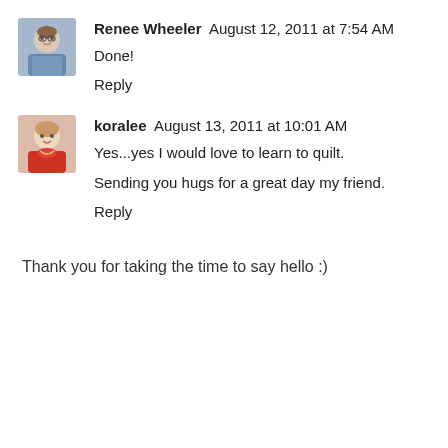[Figure (photo): Small avatar photo of Renee Wheeler, a woman with glasses]
Renee Wheeler August 12, 2011 at 7:54 AM
Done!
Reply
[Figure (photo): Small avatar photo of koralee, a woman in a red top]
koralee August 13, 2011 at 10:01 AM
Yes...yes I would love to learn to quilt.
Sending you hugs for a great day my friend.
Reply
Thank you for taking the time to say hello :)